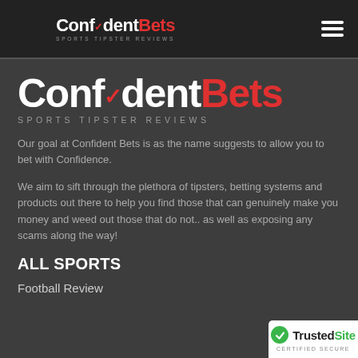ConfidentBets SPORTS TIPSTER REVIEWS
[Figure (logo): ConfidentBets logo with red checkmark, bold white and red text, tagline SPORTS TIPSTER REVIEWS]
Our goal at Confident Bets is as the name suggests to allow you to bet with Confidence.
We aim to sift through the plethora of tipsters, betting systems and products out there to help you find those that can genuinely make you money and weed out those that do not.. as well as exposing any scams along the way!
ALL SPORTS
Football Review
[Figure (logo): TrustedSite Certified Secure badge with green checkmark]